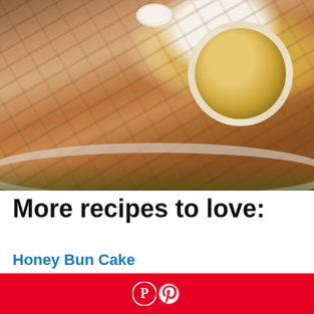[Figure (photo): Overhead photo of sliced roasted chicken or turkey on a plate with lettuce, a bowl of gravy, and hard-boiled egg halves]
More recipes to love:
Honey Bun Cake
[Figure (logo): Pinterest red bar with Pinterest logo icon (white P in circle)]